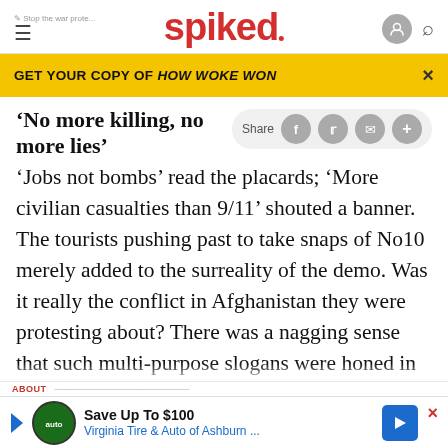spiked
GET YOUR COPY OF HOW WOKE WON
'No more killing, no more lies'
'Jobs not bombs' read the placards; 'More civilian casualties than 9/11' shouted a banner. The tourists pushing past to take snaps of No10 merely added to the surreality of the demo. Was it really the conflict in Afghanistan they were protesting about? There was a nagging sense that such multi-purpose slogans were honed in opposition to Iraq, and simply recycled for the Afghanistan conflict. In her crowd address,
Save Up To $100
Virginia Tire & Auto of Ashburn ...